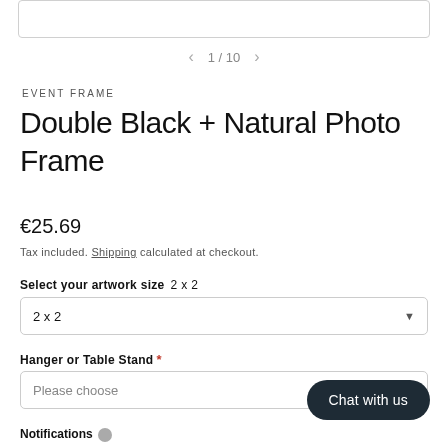[Figure (other): Top image strip showing partial product photo with border]
1 / 10
EVENT FRAME
Double Black + Natural Photo Frame
€25.69
Tax included. Shipping calculated at checkout.
Select your artwork size  2 x 2
2 x 2
Hanger or Table Stand *
Please choose
Chat with us